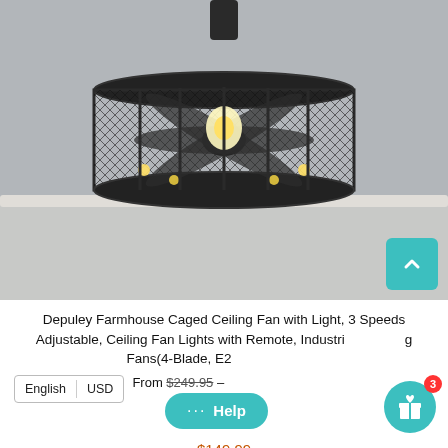[Figure (photo): Industrial farmhouse caged ceiling fan with mesh drum shade, visible fan blades and Edison bulb filament visible inside, mounted to ceiling. Dark bronze/black finish. Gray background with white crown molding visible.]
Depuley Farmhouse Caged Ceiling Fan with Light, 3 Speeds Adjustable, Ceiling Fan Lights with Remote, Industrial Ceiling Fans(4-Blade, E2... From $249.95 – $149.99
English | USD
$149.99